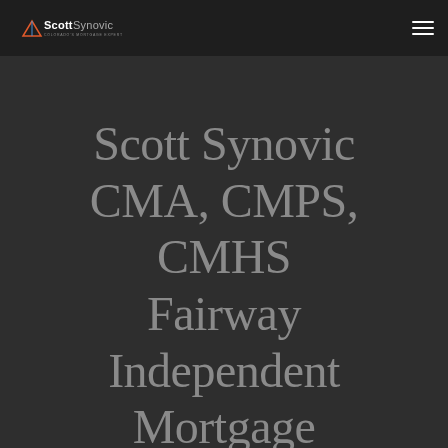Scott Synovic – Colorado's Mortgage Expert (logo)
Scott Synovic CMA, CMPS, CMHS Fairway Independent Mortgage